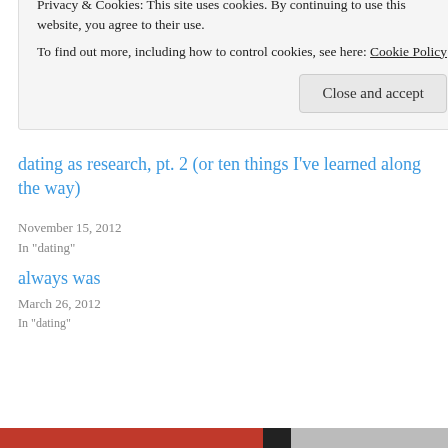[Figure (other): Like button with star icon and 8 blogger avatar thumbnails]
8 bloggers like this.
Related
dating as research, pt. 2 (or ten things I've learned along the way)
November 15, 2012
In "dating"
always was
March 26, 2012
Privacy & Cookies: This site uses cookies. By continuing to use this website, you agree to their use.
To find out more, including how to control cookies, see here: Cookie Policy
Close and accept